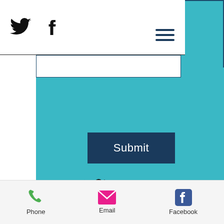[Figure (screenshot): Website screenshot showing Twitter and Facebook social icons in navigation bar with hamburger menu, a teal/cyan colored section with a Submit button and social icons, a Subscribe heading with 'Stay up to date' text, and a bottom navigation bar with Phone, Email, and Facebook options.]